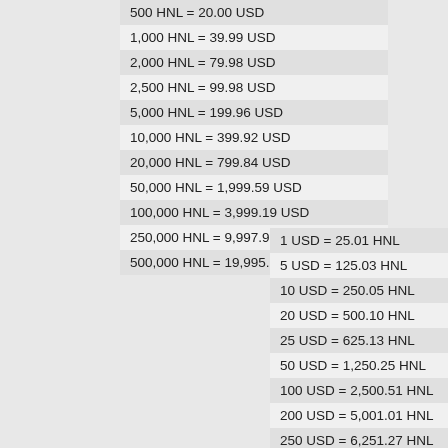| 500 HNL = 20.00 USD |
| 1,000 HNL = 39.99 USD |
| 2,000 HNL = 79.98 USD |
| 2,500 HNL = 99.98 USD |
| 5,000 HNL = 199.96 USD |
| 10,000 HNL = 399.92 USD |
| 20,000 HNL = 799.84 USD |
| 50,000 HNL = 1,999.59 USD |
| 100,000 HNL = 3,999.19 USD |
| 250,000 HNL = 9,997.97 USD |
| 500,000 HNL = 19,995.94 USD |
| 1 USD = 25.01 HNL |
| 5 USD = 125.03 HNL |
| 10 USD = 250.05 HNL |
| 20 USD = 500.10 HNL |
| 25 USD = 625.13 HNL |
| 50 USD = 1,250.25 HNL |
| 100 USD = 2,500.51 HNL |
| 200 USD = 5,001.01 HNL |
| 250 USD = 6,251.27 HNL |
| 500 USD = 12,502.54 HNL |
| 1,000 USD = 25,005.07 HNL |
| 2,000 USD = 50,010.14 HNL |